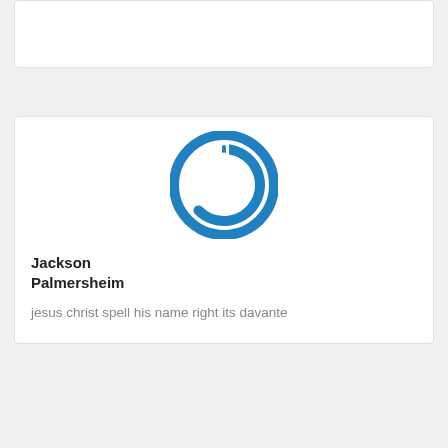[Figure (other): Partial card visible at top of page, cropped]
Jackson Palmersheim
jesus christ spell his name right its davante
Graham.25
Jackson Palmersheim dajonte